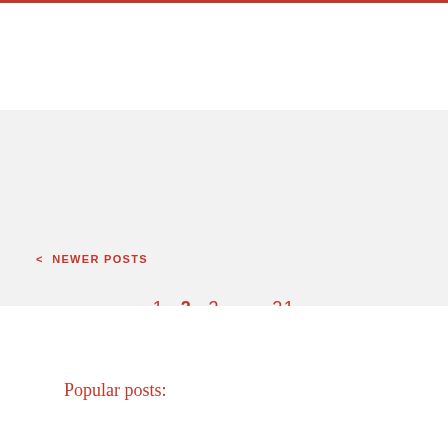< NEWER POSTS
1  2  3  ...  21
OLDER POSTS >
Popular posts: